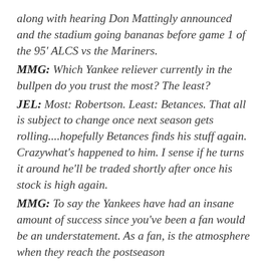along with hearing Don Mattingly announced and the stadium going bananas before game 1 of the 95' ALCS vs the Mariners.
MMG: Which Yankee reliever currently in the bullpen do you trust the most? The least?
JEL: Most: Robertson. Least: Betances. That all is subject to change once next season gets rolling....hopefully Betances finds his stuff again. Crazywhat's happened to him. I sense if he turns it around he'll be traded shortly after once his stock is high again.
MMG: To say the Yankees have had an insane amount of success since you've been a fan would be an understatement. As a fan, is the atmosphere when they reach the postseason